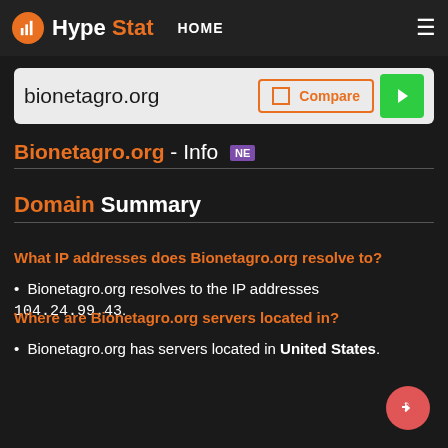HypeStat HOME ≡
bionetagro.org Compare ▶
Bionetagro.org - Info NE
Domain Summary
What IP addresses does Bionetagro.org resolve to?
Bionetagro.org resolves to the IP addresses 104.24.99.43.
Where are Bionetagro.org servers located in?
Bionetagro.org has servers located in United States.